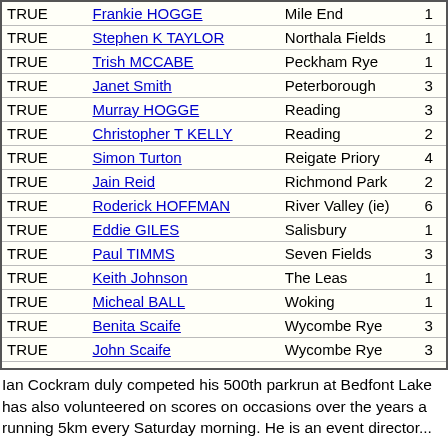|  | Name | Location |  |
| --- | --- | --- | --- |
| TRUE | Frankie HOGGE | Mile End | 1 |
| TRUE | Stephen K TAYLOR | Northala Fields | 1 |
| TRUE | Trish MCCABE | Peckham Rye | 1 |
| TRUE | Janet Smith | Peterborough | 3 |
| TRUE | Murray HOGGE | Reading | 3 |
| TRUE | Christopher T KELLY | Reading | 2 |
| TRUE | Simon Turton | Reigate Priory | 4 |
| TRUE | Jain Reid | Richmond Park | 2 |
| TRUE | Roderick HOFFMAN | River Valley (ie) | 6 |
| TRUE | Eddie GILES | Salisbury | 1 |
| TRUE | Paul TIMMS | Seven Fields | 3 |
| TRUE | Keith Johnson | The Leas | 1 |
| TRUE | Micheal BALL | Woking | 1 |
| TRUE | Benita Scaife | Wycombe Rye | 3 |
| TRUE | John Scaife | Wycombe Rye | 3 |
| TRUE | Tony BARNWELL | Wycombe Rye | 4 |
Ian Cockram duly competed his 500th parkrun at Bedfont Lake has also volunteered on scores on occasions over the years a running 5km every Saturday morning. He is an event director...